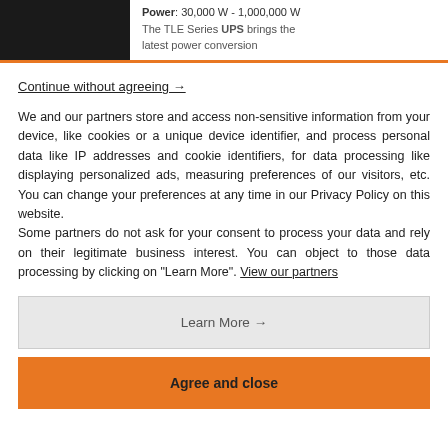[Figure (photo): Dark/black product image on left side of top bar]
Power: 30,000 W - 1,000,000 W
The TLE Series UPS brings the latest power conversion
Continue without agreeing →
We and our partners store and access non-sensitive information from your device, like cookies or a unique device identifier, and process personal data like IP addresses and cookie identifiers, for data processing like displaying personalized ads, measuring preferences of our visitors, etc. You can change your preferences at any time in our Privacy Policy on this website.
Some partners do not ask for your consent to process your data and rely on their legitimate business interest. You can object to those data processing by clicking on "Learn More". View our partners
Learn More →
Agree and close